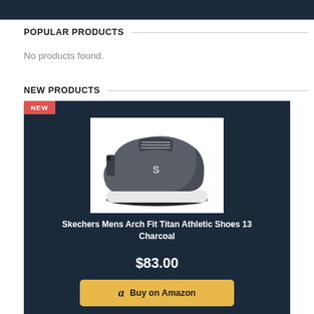POPULAR PRODUCTS
No products found.
NEW PRODUCTS
[Figure (photo): Skechers Mens Arch Fit Titan Athletic Shoe in charcoal colorway, shown in profile against white background]
Skechers Mens Arch Fit Titan Athletic Shoes 13 Charcoal
$83.00
Buy on Amazon